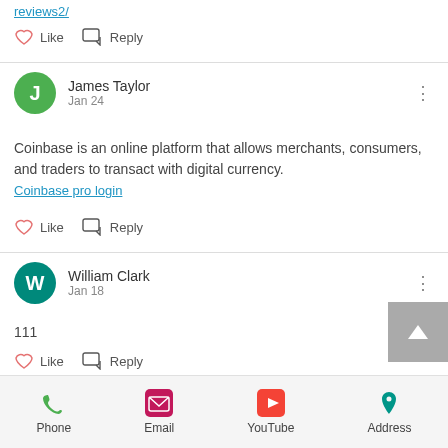reviews2/
Like  Reply
James Taylor
Jan 24
Coinbase is an online platform that allows merchants, consumers, and traders to transact with digital currency. Coinbase pro login
Like  Reply
William Clark
Jan 18
111
Like  Reply
Phone  Email  YouTube  Address